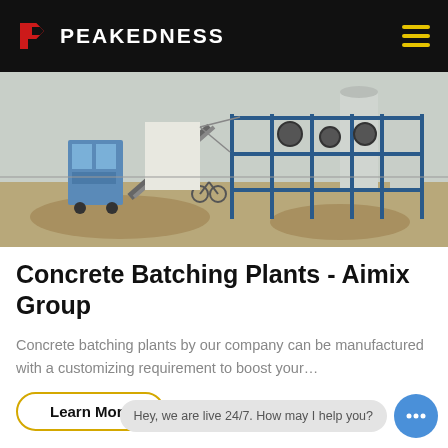PEAKEDNESS
[Figure (photo): Outdoor concrete batching plant with blue steel framework, conveyor belts, and industrial silos on a construction site]
Concrete Batching Plants - Aimix Group
Concrete batching plants by our company can be manufactured with a customizing requirement to boost your…
Learn More
Hey, we are live 24/7. How may I help you?